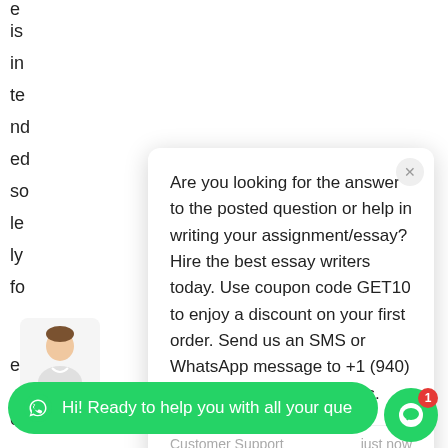e
is
in
te
nd
ed
so
le
ly
fo
Are you looking for the answer to the posted question or help in writing your assignment/essay? Hire the best essay writers today. Use coupon code GET10 to enjoy a discount on your first order. Send us an SMS or WhatsApp message to +1 (940) 905 5542 for any questions.
Customer Support   just now
e
Hi! Ready to help you with all your que
er